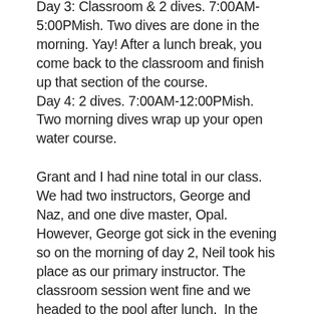Day 3: Classroom & 2 dives. 7:00AM-5:00PMish. Two dives are done in the morning. Yay! After a lunch break, you come back to the classroom and finish up that section of the course. Day 4: 2 dives. 7:00AM-12:00PMish. Two morning dives wrap up your open water course.
Grant and I had nine total in our class. We had two instructors, George and Naz, and one dive master, Opal. However, George got sick in the evening so on the morning of day 2, Neil took his place as our primary instructor. The classroom session went fine and we headed to the pool after lunch.  In the pool is struggled on one of the skills.  Opal stayed with me and